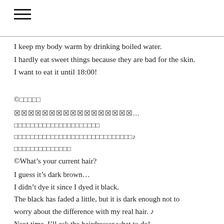≡
I keep my body warm by drinking boiled water.
I hardly eat sweet things because they are bad for the skin.
I want to eat it until 18:00!
@□□□□□
█████████████████...
□□□□□□□□□□□□□□□□□□□□□
□□□□□□□□□□□□□□□□□□□□□□□□□□□□♪
□□□□□□□□□□□□□□
©What's your current hair?
I guess it's dark brown...
I didn't dye it since I dyed it black.
The black has faded a little, but it is dark enough not to worry about the difference with my real hair. ♪
Next time, I'll ask the hairdresser what to do!